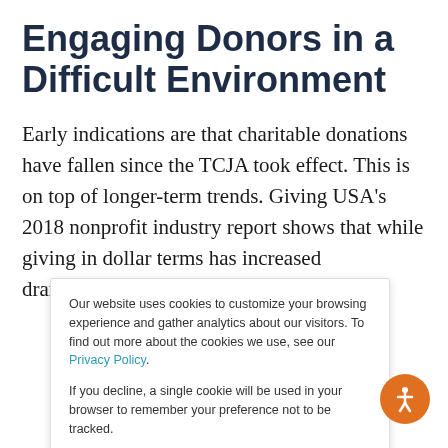Engaging Donors in a Difficult Environment
Early indications are that charitable donations have fallen since the TCJA took effect. This is on top of longer-term trends. Giving USA's 2018 nonprofit industry report shows that while giving in dollar terms has increased dramatically in the 21st century,
Our website uses cookies to customize your browsing experience and gather analytics about our visitors. To find out more about the cookies we use, see our Privacy Policy.

If you decline, a single cookie will be used in your browser to remember your preference not to be tracked.
Accept
Decline